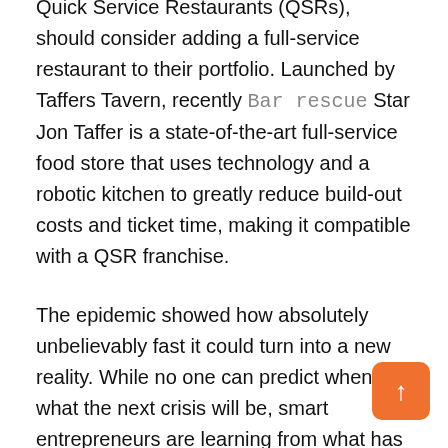Quick Service Restaurants (QSRs), should consider adding a full-service restaurant to their portfolio. Launched by Taffers Tavern, recently Bar rescue Star Jon Taffer is a state-of-the-art full-service food store that uses technology and a robotic kitchen to greatly reduce build-out costs and ticket time, making it compatible with a QSR franchise.
The epidemic showed how absolutely unbelievably fast it could turn into a new reality. While no one can predict when or what the next crisis will be, smart entrepreneurs are learning from what has just happened and building structured businesses to better deal with future challenges. Diversifying a franchise portfolio is a difficult and easy way for entrepreneurs to work now to hedge their bets in